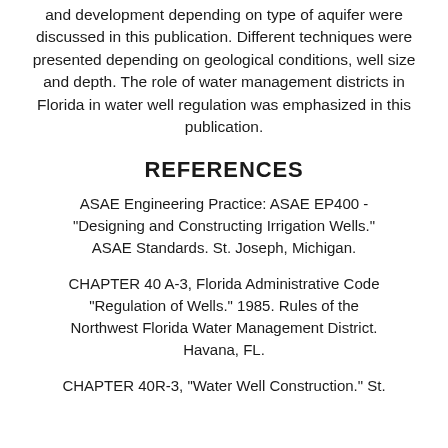and development depending on type of aquifer were discussed in this publication. Different techniques were presented depending on geological conditions, well size and depth. The role of water management districts in Florida in water well regulation was emphasized in this publication.
REFERENCES
ASAE Engineering Practice: ASAE EP400 - "Designing and Constructing Irrigation Wells." ASAE Standards. St. Joseph, Michigan.
CHAPTER 40 A-3, Florida Administrative Code "Regulation of Wells." 1985. Rules of the Northwest Florida Water Management District. Havana, FL.
CHAPTER 40R-3, "Water Well Construction." St.